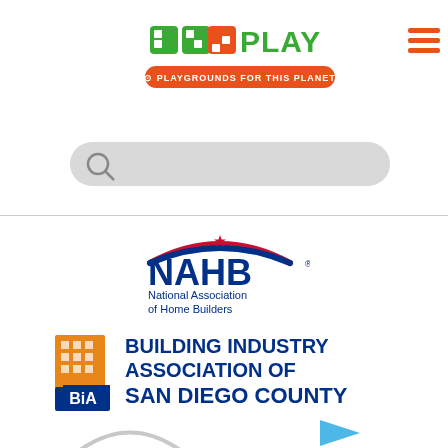[Figure (logo): DPD Play logo with green and orange geometric shapes and text 'PLAY', with orange pill badge reading 'PLAYGROUNDS FOR THIS PLANET']
[Figure (logo): Hamburger menu icon with three orange horizontal bars]
[Figure (screenshot): Search bar with magnifying glass icon on gray rounded rectangle background]
[Figure (logo): NAHB logo - National Association of Home Builders with red and blue arch/roof graphic above NAHB text]
[Figure (logo): Building Industry Association of San Diego County logo with orange building graphic and BIA text]
[Figure (logo): Partial logos visible at bottom of page]